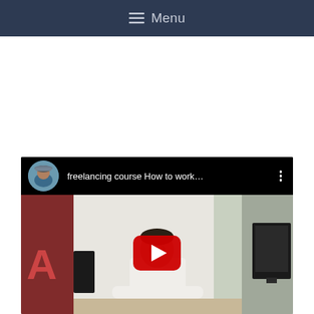≡ Menu
[Figure (screenshot): YouTube video embed showing a freelancing course video. The video header shows a circular channel avatar photo of a man wearing a cap, the title 'freelancing course How to work...' in white text on black background, and a three-dot menu icon. The video thumbnail shows a man in a white shirt sitting at a desk with a monitor visible on the right side and a banner/sign partially visible on the left. A large red YouTube play button is centered over the thumbnail.]